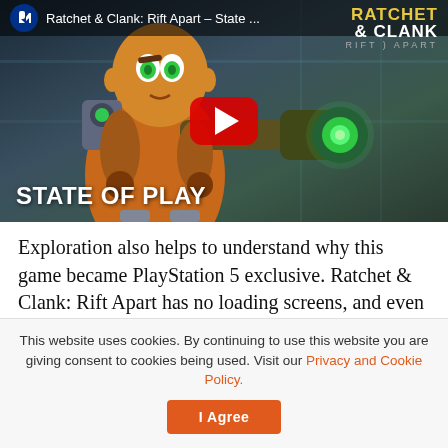[Figure (screenshot): YouTube video thumbnail for Ratchet & Clank: Rift Apart – State of Play. Shows the game character holding a large weapon with a glowing green end, PlayStation logo in top-left, game title logo top-right, red YouTube play button in center, 'STATE OF PLAY' text in white bold at bottom-left.]
Exploration also helps to understand why this game became PlayStation 5 exclusive. Ratchet & Clank: Rift Apart has no loading screens, and even side quests or secret stages found inside the main ones don't. This shows that the game makes good use of the capabilities of the SSD and other
This website uses cookies. By continuing to use this website you are giving consent to cookies being used. Visit our Privacy and Cookie Policy.
I Agree